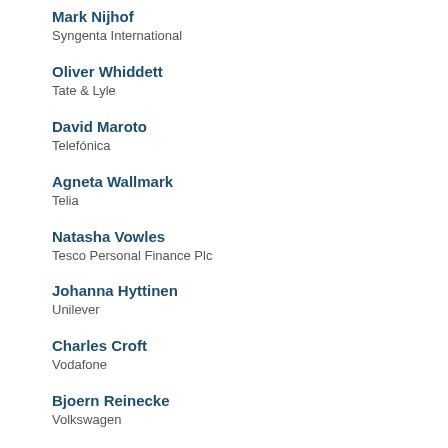Mark Nijhof
Syngenta International
Oliver Whiddett
Tate & Lyle
David Maroto
Telefónica
Agneta Wallmark
Telia
Natasha Vowles
Tesco Personal Finance Plc
Johanna Hyttinen
Unilever
Charles Croft
Vodafone
Bjoern Reinecke
Volkswagen